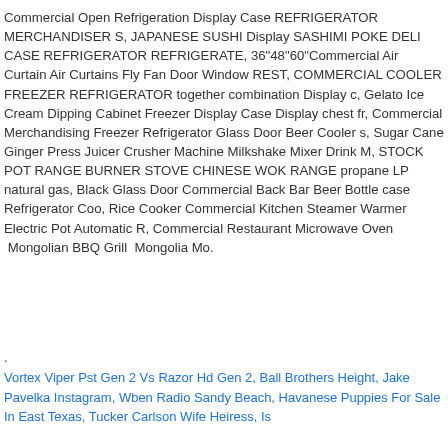Commercial Open Refrigeration Display Case REFRIGERATOR MERCHANDISER S, JAPANESE SUSHI Display SASHIMI POKE DELI CASE REFRIGERATOR REFRIGERATE, 36"48"60"Commercial Air Curtain Air Curtains Fly Fan Door Window REST, COMMERCIAL COOLER FREEZER REFRIGERATOR together combination Display c, Gelato Ice Cream Dipping Cabinet Freezer Display Case Display chest fr, Commercial Merchandising Freezer Refrigerator Glass Door Beer Cooler s, Sugar Cane Ginger Press Juicer Crusher Machine Milkshake Mixer Drink M, STOCK POT RANGE BURNER STOVE CHINESE WOK RANGE propane LP natural gas, Black Glass Door Commercial Back Bar Beer Bottle case Refrigerator Coo, Rice Cooker Commercial Kitchen Steamer Warmer Electric Pot Automatic R, Commercial Restaurant Microwave Oven  Mongolian BBQ Grill  Mongolia Mo.
.
Vortex Viper Pst Gen 2 Vs Razor Hd Gen 2, Ball Brothers Height, Jake Pavelka Instagram, Wben Radio Sandy Beach, Havanese Puppies For Sale In East Texas, Tucker Carlson Wife Heiress, Is